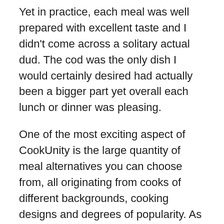Yet in practice, each meal was well prepared with excellent taste and I didn't come across a solitary actual dud. The cod was the only dish I would certainly desired had actually been a bigger part yet overall each lunch or dinner was pleasing.
One of the most exciting aspect of CookUnity is the large quantity of meal alternatives you can choose from, all originating from cooks of different backgrounds, cooking designs and degrees of popularity. As an authentic dining establishment addict, I would think about CookUnity not only as a delicious method to keep myself fed without needing to cook, yet likewise as a fun method to learn about brand-new cook personalities and restaurants for the following time I'm